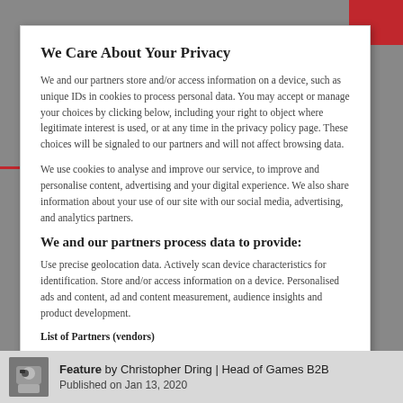We Care About Your Privacy
We and our partners store and/or access information on a device, such as unique IDs in cookies to process personal data. You may accept or manage your choices by clicking below, including your right to object where legitimate interest is used, or at any time in the privacy policy page. These choices will be signaled to our partners and will not affect browsing data.
We use cookies to analyse and improve our service, to improve and personalise content, advertising and your digital experience. We also share information about your use of our site with our social media, advertising, and analytics partners.
We and our partners process data to provide:
Use precise geolocation data. Actively scan device characteristics for identification. Store and/or access information on a device. Personalised ads and content, ad and content measurement, audience insights and product development.
List of Partners (vendors)
Feature by Christopher Dring | Head of Games B2B
Published on Jan 13, 2020